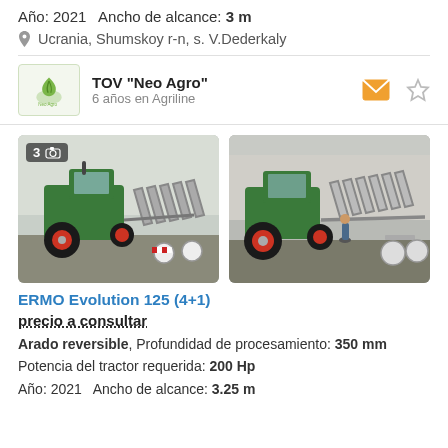Año: 2021  Ancho de alcance: 3 m
Ucrania, Shumskoy r-n, s. V.Dederkaly
TOV "Neo Agro"
6 años en Agriline
[Figure (photo): Green tractor with reversible plow attachment in misty outdoor setting, photo count badge showing 3]
[Figure (photo): Green tractor with large reversible plow attachment, person standing nearby, outdoor setting]
ERMO Evolution 125 (4+1)
precio a consultar
Arado reversible, Profundidad de procesamiento: 350 mm Potencia del tractor requerida: 200 Hp Año: 2021  Ancho de alcance: 3.25 m